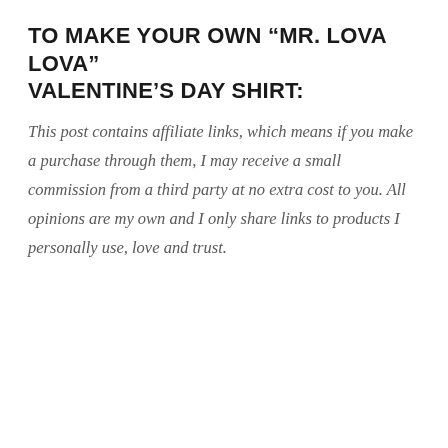TO MAKE YOUR OWN “MR. LOVA LOVA” VALENTINE’S DAY SHIRT:
This post contains affiliate links, which means if you make a purchase through them, I may receive a small commission from a third party at no extra cost to you. All opinions are my own and I only share links to products I personally use, love and trust.